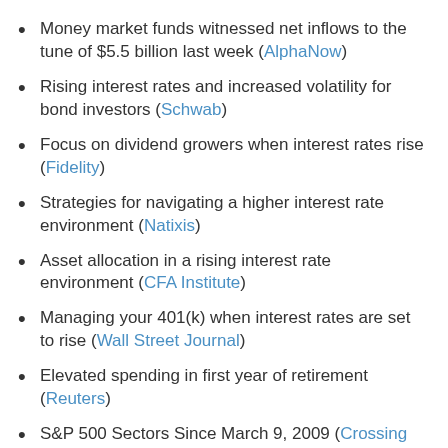Money market funds witnessed net inflows to the tune of $5.5 billion last week (AlphaNow)
Rising interest rates and increased volatility for bond investors (Schwab)
Focus on dividend growers when interest rates rise (Fidelity)
Strategies for navigating a higher interest rate environment (Natixis)
Asset allocation in a rising interest rate environment (CFA Institute)
Managing your 401(k) when interest rates are set to rise (Wall Street Journal)
Elevated spending in first year of retirement (Reuters)
S&P 500 Sectors Since March 9, 2009 (Crossing Wall Street)
Chemical Activity Barometer a leading indicator